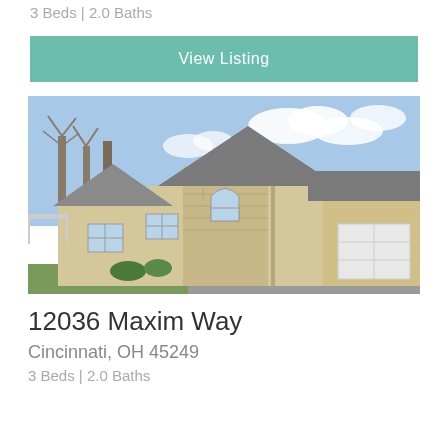3 Beds | 2.0 Baths
View Listing
[Figure (photo): Exterior photo of a beige/cream suburban home with stone facade, arched window, gray roof, attached garage with white door, bare trees in background, blue sky with clouds]
12036 Maxim Way
Cincinnati, OH 45249
3 Beds | 2.0 Baths